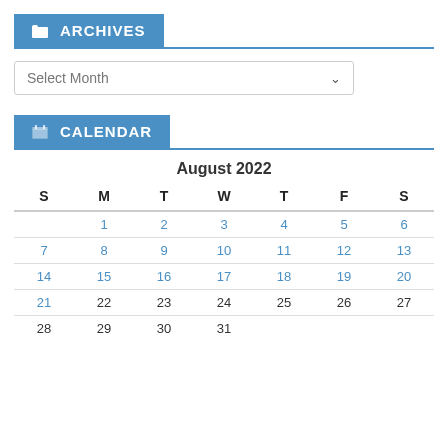ARCHIVES
Select Month
CALENDAR
| S | M | T | W | T | F | S |
| --- | --- | --- | --- | --- | --- | --- |
|  | 1 | 2 | 3 | 4 | 5 | 6 |
| 7 | 8 | 9 | 10 | 11 | 12 | 13 |
| 14 | 15 | 16 | 17 | 18 | 19 | 20 |
| 21 | 22 | 23 | 24 | 25 | 26 | 27 |
| 28 | 29 | 30 | 31 |  |  |  |